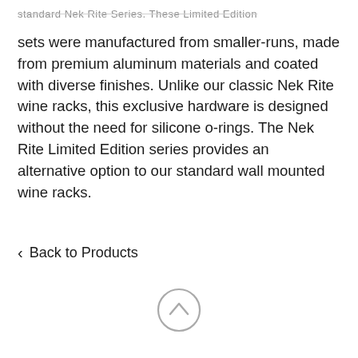standard Nek Rite Series. These Limited Edition
sets were manufactured from smaller-runs, made from premium aluminum materials and coated with diverse finishes. Unlike our classic Nek Rite wine racks, this exclusive hardware is designed without the need for silicone o-rings. The Nek Rite Limited Edition series provides an alternative option to our standard wall mounted wine racks.
< Back to Products
[Figure (illustration): Circular scroll-to-top button with an upward chevron arrow, rendered in light grey outline style.]